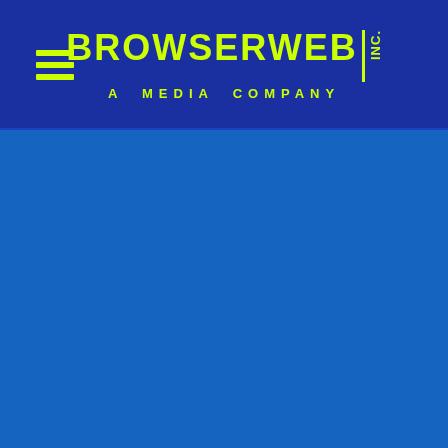[Figure (logo): BrowserWeb Inc. logo — yellow-green text on dark navy blue header bar. Includes hamburger menu icon on left, 'BROWSERWEB' in bold yellow-green letters, vertical bar divider, 'INC.' in vertical text, and subtitle 'A MEDIA COMPANY' in spaced yellow-green letters.]